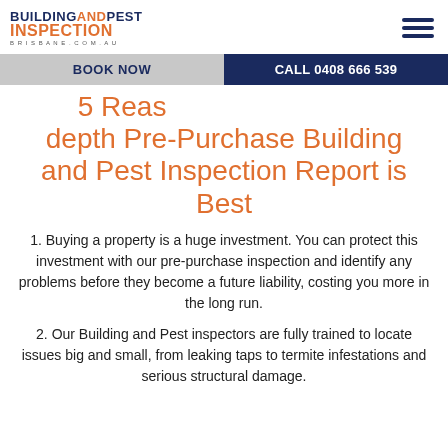BUILDING AND PEST INSPECTION BRISBANE.COM.AU
5 Reasons Why Our In-depth Pre-Purchase Building and Pest Inspection Report is Best
1. Buying a property is a huge investment. You can protect this investment with our pre-purchase inspection and identify any problems before they become a future liability, costing you more in the long run.
2. Our Building and Pest inspectors are fully trained to locate issues big and small, from leaking taps to termite infestations and serious structural damage.